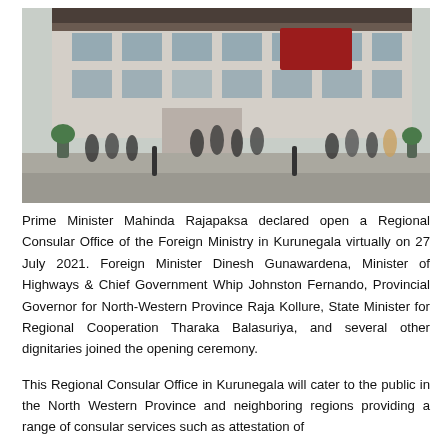[Figure (photo): Outdoor photograph of people gathered in front of a multi-story building with a red carpet at the entrance, taken during the opening of the Regional Consular Office in Kurunegala.]
Prime Minister Mahinda Rajapaksa declared open a Regional Consular Office of the Foreign Ministry in Kurunegala virtually on 27 July 2021. Foreign Minister Dinesh Gunawardena, Minister of Highways & Chief Government Whip Johnston Fernando, Provincial Governor for North-Western Province Raja Kollure, State Minister for Regional Cooperation Tharaka Balasuriya, and several other dignitaries joined the opening ceremony.
This Regional Consular Office in Kurunegala will cater to the public in the North Western Province and neighboring regions providing a range of consular services such as attestation of